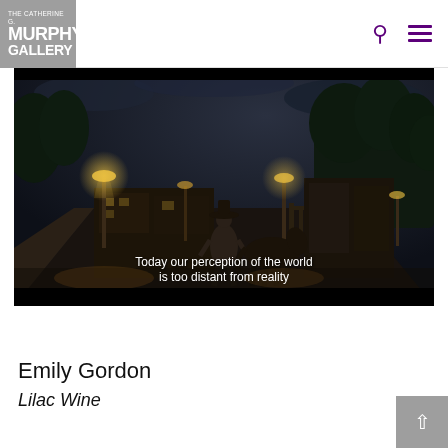THE CATHERINE G. MURPHY GALLERY
[Figure (screenshot): Video game screenshot (Red Dead Redemption 2) showing a cowboy walking with a horse down a night street with warm lamp lights and lush trees, with subtitle text: 'Today our perception of the world is too distant from reality']
Emily Gordon
Lilac Wine